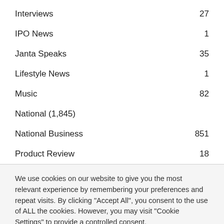Interviews 27
IPO News 1
Janta Speaks 35
Lifestyle News 1
Music 82
National (1,845)
National Business 851
Product Review 18
We use cookies on our website to give you the most relevant experience by remembering your preferences and repeat visits. By clicking "Accept All", you consent to the use of ALL the cookies. However, you may visit "Cookie Settings" to provide a controlled consent.
Cookie Settings | Accept All